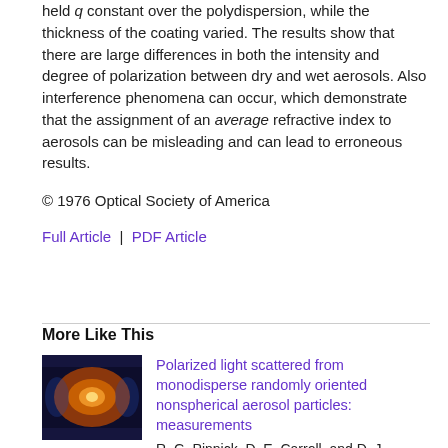held q constant over the polydispersion, while the thickness of the coating varied. The results show that there are large differences in both the intensity and degree of polarization between dry and wet aerosols. Also interference phenomena can occur, which demonstrate that the assignment of an average refractive index to aerosols can be misleading and can lead to erroneous results.
© 1976 Optical Society of America
Full Article  |  PDF Article
More Like This
[Figure (photo): Thumbnail image of Applied Optics journal cover showing an orange/brown nebula-like image on dark blue background]
Polarized light scattered from monodisperse randomly oriented nonspherical aerosol particles: measurements
R. G. Pinnick, D. E. Carroll, and D. J. Hofmann